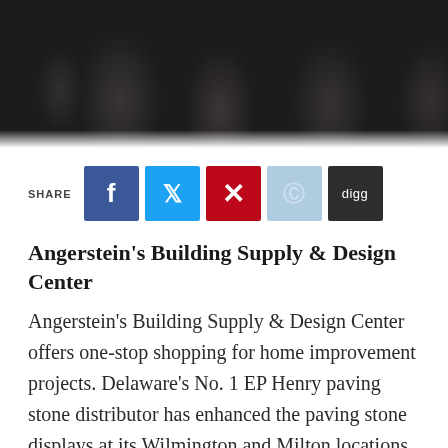[Figure (photo): Dark photograph showing multiple people as silhouettes/figures against a dark background, cropped to show only legs and lower bodies]
SHARE
[Figure (infographic): Social media share buttons: Facebook (blue), Twitter (light blue), Pinterest (red), Reddit (light blue), Digg (dark gray)]
Angerstein's Building Supply & Design Center
Angerstein's Building Supply & Design Center offers one-stop shopping for home improvement projects. Delaware's No. 1 EP Henry paving stone distributor has enhanced the paving stone displays at its Wilmington and Milton locations to include many colors and styles and design elements such as walls, a fireplace and firepit, outdoor kitchens, waterfall and paver medallions. The Design Center features patio furniture